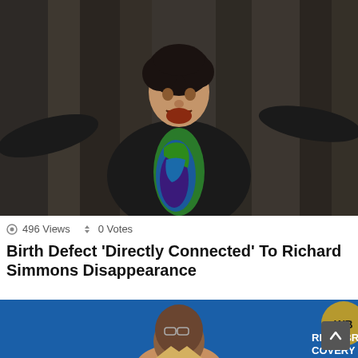[Figure (photo): A person with arms outstretched wearing a black jacket and colorful shirt, photographed outdoors against a gray background.]
© 496 Views  ↑↓ 0 Votes
Birth Defect 'Directly Connected' To Richard Simmons Disappearance
[Figure (photo): A man in a suit standing in front of a Warner Bros. Discovery backdrop with WB logo visible.]